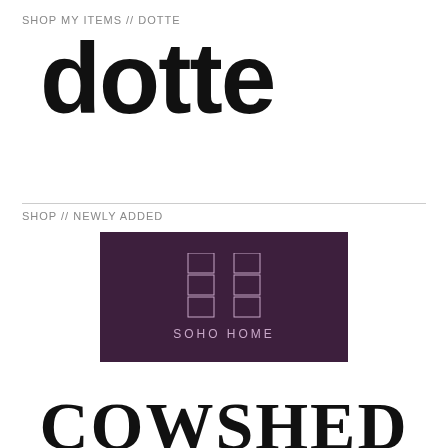SHOP MY ITEMS // DOTTE
dotte
SHOP // NEWLY ADDED
[Figure (logo): Soho Home brand logo on dark purple background — geometric grid pattern resembling letter H, with text 'SOHO HOME' below in lavender letters]
COWSHED